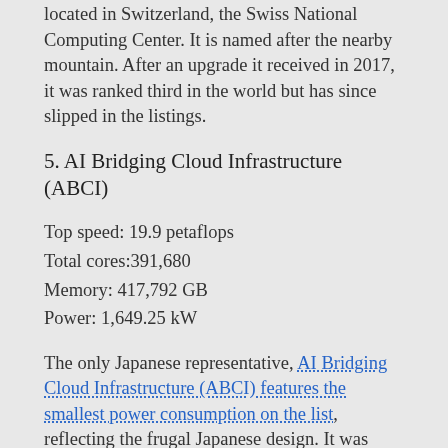located in Switzerland, the Swiss National Computing Center. It is named after the nearby mountain. After an upgrade it received in 2017, it was ranked third in the world but has since slipped in the listings.
5. AI Bridging Cloud Infrastructure (ABCI)
Top speed: 19.9 petaflops
Total cores:391,680
Memory: 417,792 GB
Power: 1,649.25 kW
The only Japanese representative, AI Bridging Cloud Infrastructure (ABCI) features the smallest power consumption on the list, reflecting the frugal Japanese design. It was built in 2017 by Japan's National Institute of Advanced Industrial Science and Technology and installed at the University of Tokyo.